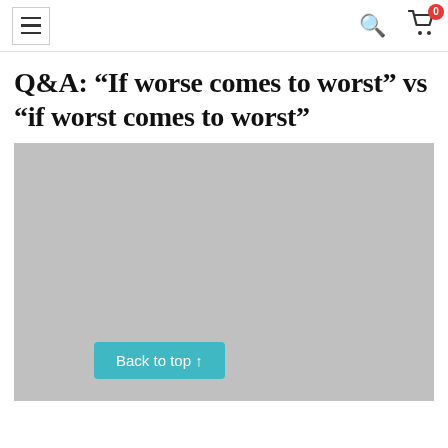Menu | Search | Cart (0)
Q&A: “If worse comes to worst” vs “if worst comes to worst”
[Figure (photo): Gray placeholder image area with a teal 'Back to top ↑' button in the lower left portion]
Back to top ↑